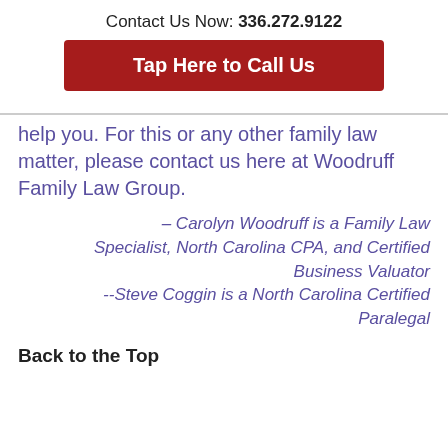Contact Us Now: 336.272.9122
Tap Here to Call Us
help you. For this or any other family law matter, please contact us here at Woodruff Family Law Group.
– Carolyn Woodruff is a Family Law Specialist, North Carolina CPA, and Certified Business Valuator
--Steve Coggin is a North Carolina Certified Paralegal
Back to the Top